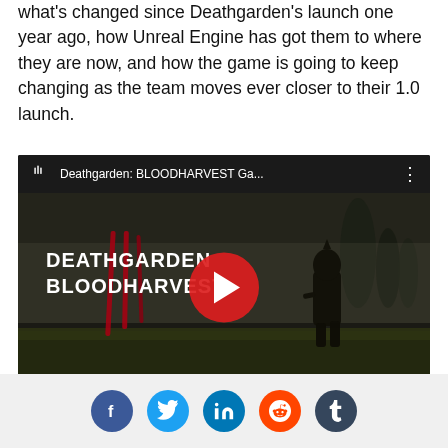what's changed since Deathgarden's launch one year ago, how Unreal Engine has got them to where they are now, and how the game is going to keep changing as the team moves ever closer to their 1.0 launch.
[Figure (screenshot): YouTube embedded video thumbnail for 'Deathgarden: BLOODHARVEST Ga...' gameplay trailer showing game title text and a hooded figure in a dark foggy environment with a red YouTube play button overlay.]
[Figure (other): Social share icons row: Facebook (blue), Twitter (light blue), LinkedIn (dark blue), Reddit (orange), Tumblr (dark blue-grey)]